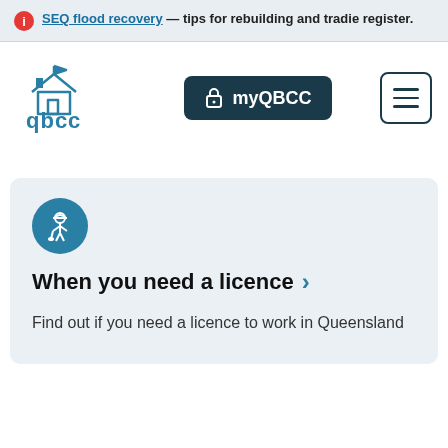SEQ flood recovery — tips for rebuilding and tradie register.
[Figure (logo): QBCC logo — stylized house icon with 'qbcc' text in teal]
[Figure (other): myQBCC login button with padlock icon]
[Figure (other): Hamburger menu button with three horizontal lines]
[Figure (other): Construction worker icon in teal circle]
When you need a licence ›
Find out if you need a licence to work in Queensland